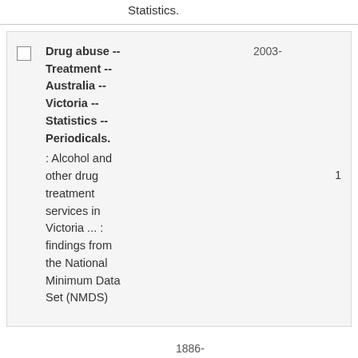Statistics.
Drug abuse -- Treatment -- Australia -- Victoria -- Statistics -- Periodicals. : Alcohol and other drug treatment services in Victoria ... : findings from the National Minimum Data Set (NMDS)  2003-  1
1886-